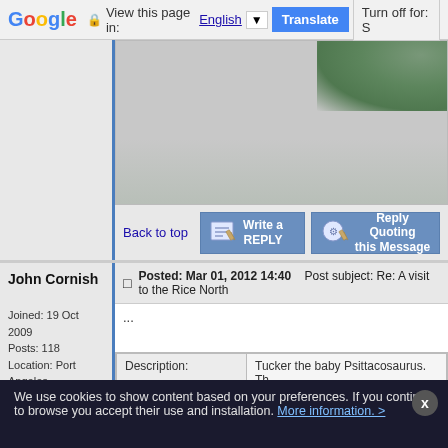Google | View this page in: English [▼] | Translate | Turn off for: S
[Figure (photo): Partial view of a forum post image area showing green foliage in upper right, rest is gray/blank]
Back to top
[Figure (other): Write a REPLY button]
[Figure (other): Reply Quoting this Message button]
Posted: Mar 01, 2012 14:40   Post subject: Re: A visit to the Rice North
John Cornish
...
Joined: 19 Oct 2009
Posts: 118
Location: Port Angeles
| Description: | Tucker the baby Psittacosaurus. Th |
| --- | --- |
We use cookies to show content based on your preferences. If you continue to browse you accept their use and installation. More information. >